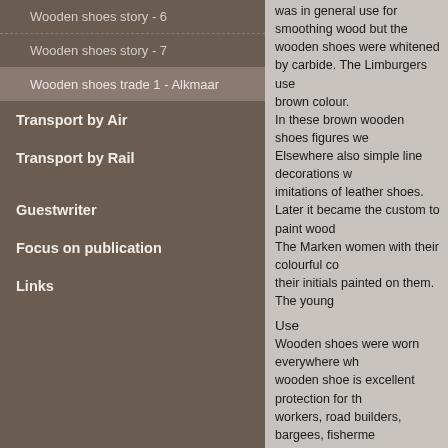Wooden shoes story - 6
Wooden shoes story - 7
Wooden shoes trade 1 - Alkmaar
Transport by Air
Transport by Rail
Guestwriter
Focus on publication
Links
was in general use for smoothing wood but the wooden shoes were whitened by carbide. The Limburgers used oil to give the shoes a brown colour.
In these brown wooden shoes figures were burnt or carved. Elsewhere also simple line decorations were made or they were made as imitations of leather shoes.
Later it became the custom to paint wooden shoes. The Marken women with their colourful costumes liked to have their initials painted on them. The young
Use
Wooden shoes were worn everywhere where the traditional wooden shoe is excellent protection for the feet. Farmers, peat workers, road builders, bargees, fishermen, factory workers, butchers, laundry workers, and brick makers - everyone who did wet or dirty work liked to wear wooden shoes. Wooden shoes were kept for indoor wear.
The Marken fishermen walked in stockings.
On the whole it was people with small incomes who wore wooden shoe schools".
During both world wars when leather shoes were scarce...
Old wooden shoes which are no longer fit to be worn were used as a flower pot, as a bailer in a boat. Boys made them clatter to keep the time in a dance.
In the Dutch language there are several words and expressions that mention them.
Although it is clear from the above that for a great part the many wooden shoes are made for the trade, but quite a number of others are used as table lamps, brush ho
Source: